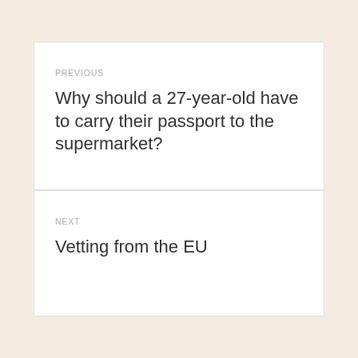PREVIOUS
Why should a 27-year-old have to carry their passport to the supermarket?
NEXT
Vetting from the EU